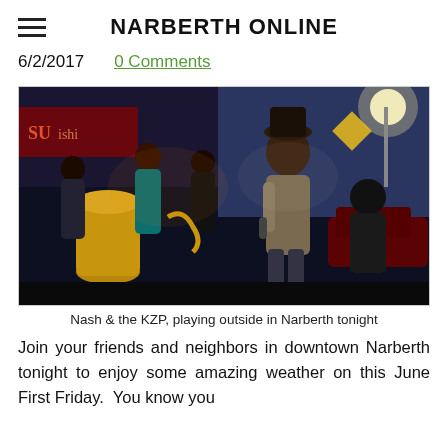NARBERTH ONLINE
6/2/2017   0 Comments
[Figure (photo): Outdoor night photo of Nash & the KZP band performing on a street in Narberth. Musicians with percussion and brass instruments visible, singer in foreground holding microphone, street lights and signs in background.]
Nash & the KZP, playing outside in Narberth tonight
Join your friends and neighbors in downtown Narberth tonight to enjoy some amazing weather on this June First Friday.  You know you